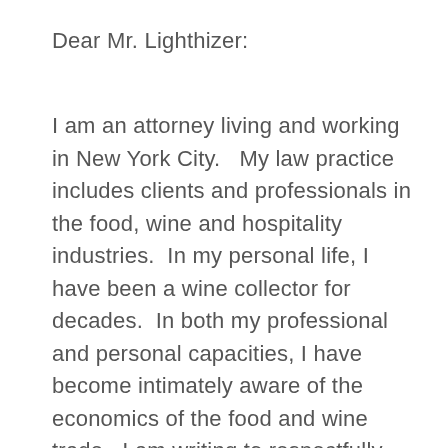Dear Mr. Lighthizer:
I am an attorney living and working in New York City.   My law practice includes clients and professionals in the food, wine and hospitality industries.  In my personal life, I have been a wine collector for decades.  In both my professional and personal capacities, I have become intimately aware of the economics of the food and wine trade.  I am writing to respectfully urge you not to implement the proposed tariffs, because they will cause severe negative consequences to the U.S. workforce, will result in lower tax revenues and will cause strain on our